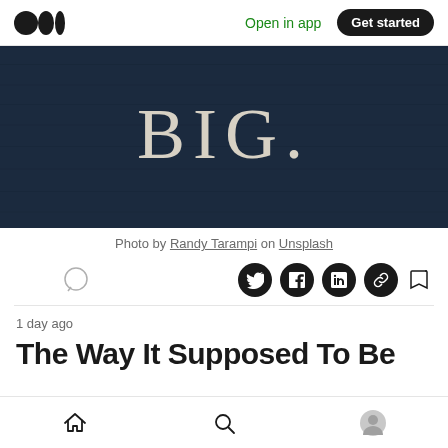Medium logo | Open in app | Get started
[Figure (photo): Dark blue/black wooden wall with 'BIG.' painted in white chalk or paint lettering]
Photo by Randy Tarampi on Unsplash
[Figure (screenshot): Action bar with clap, comment, Twitter, Facebook, LinkedIn, link, and bookmark icons]
1 day ago
The Way It Supposed To Be
Home | Search | Profile